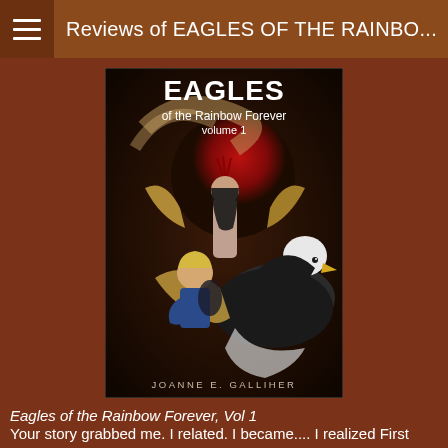Reviews of EAGLES OF THE RAINBO...
[Figure (illustration): Book cover of 'Eagles of the Rainbow Forever, Volume 1' by Joanne E. Galliher. Shows a fantasy scene with a bald eagle, a woman with wings wearing Native American attire standing in front of a red sun, and a young boy. Title 'EAGLES of the Rainbow Forever volume 1' in white text at top, author name 'JOANNE E. GALLIHER' at bottom.]
Eagles of the Rainbow Forever, Vol 1
Your story grabbed me. I related. I became.... I realized First Light being her, with her emotion load was huge. this is a well-crafted